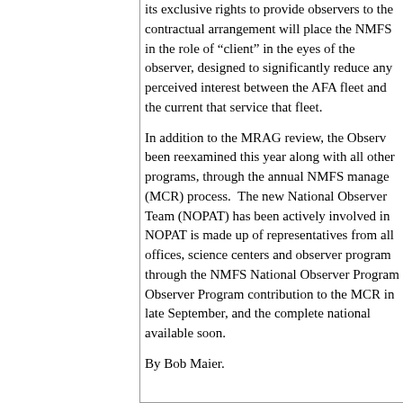its exclusive rights to provide observers to the contractual arrangement will place the NMFS in the role of "client" in the eyes of the observer, designed to significantly reduce any perceived conflict of interest between the AFA fleet and the current contractor that service that fleet.
In addition to the MRAG review, the Observer Program has been reexamined this year along with all other NMFS programs, through the annual NMFS management review (MCR) process. The new National Observer Program Advisory Team (NOPAT) has been actively involved in this review. NOPAT is made up of representatives from all NMFS regional offices, science centers and observer programs, and is coordinated through the NMFS National Observer Program Office. The National Observer Program contribution to the MCR process was completed in late September, and the complete national observer report will be available soon.
By Bob Maier.
Up